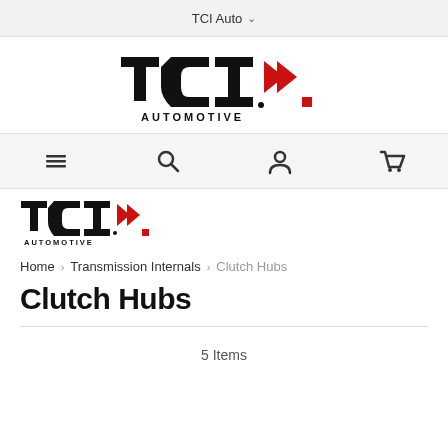TCI Auto
[Figure (logo): TCI Automotive logo, large, centered]
[Figure (screenshot): Navigation toolbar with menu, search, account, and cart icons]
[Figure (logo): TCI Automotive logo, small, left-aligned]
Home > Transmission Internals > Clutch Hubs
Clutch Hubs
5 Items